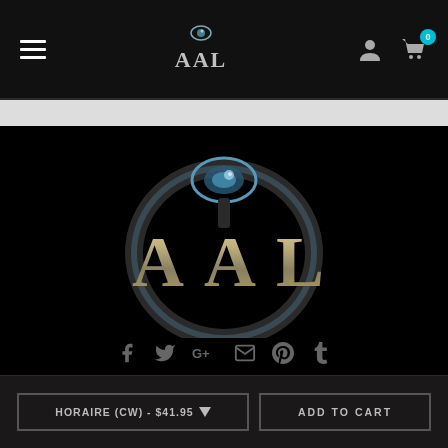[Figure (logo): AAL website navigation bar logo - small AAL text logo with eye/scope graphic, white on dark background]
[Figure (logo): Large AAL brand logo centered on black background - metallic 3D letters AAL with ring/scope graphic above, dark fantasy style]
[Figure (infographic): Social media icon row: Facebook, Twitter, Google+, Email, Pinterest, Tumblr icons in grey on black background]
HORAIRE (CW) - $41.95
ADD TO CART